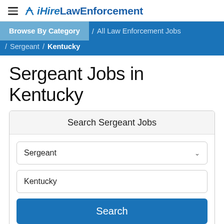iHireLawEnforcement
Browse By Category / All Law Enforcement Jobs / Sergeant / Kentucky
Sergeant Jobs in Kentucky
Search Sergeant Jobs
Sergeant
Kentucky
Search
1-2 of 2 Jobs